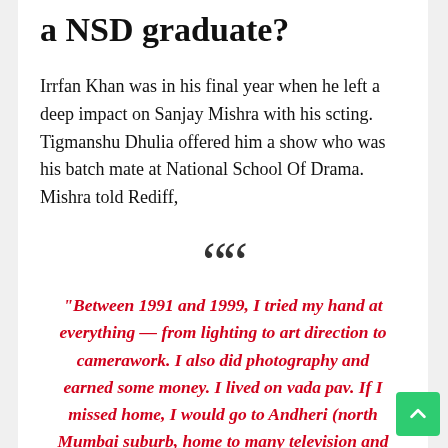a NSD graduate?
Irrfan Khan was in his final year when he left a deep impact on Sanjay Mishra with his scting. Tigmanshu Dhulia offered him a show who was his batch mate at National School Of Drama. Mishra told Rediff,
“Between 1991 and 1999, I tried my hand at everything — from lighting to art direction to camerawork. I also did photography and earned some money. I lived on vada pav. If I missed home, I would go to Andheri (north Mumbai suburb, home to many television and